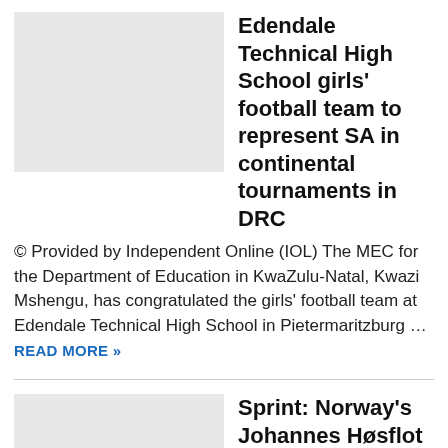[Figure (photo): Placeholder image for Edendale Technical High School girls football team article]
Edendale Technical High School girls' football team to represent SA in continental tournaments in DRC
© Provided by Independent Online (IOL) The MEC for the Department of Education in KwaZulu-Natal, Kwazi Mshengu, has congratulated the girls' football team at Edendale Technical High School in Pietermaritzburg … READ MORE »
[Figure (photo): Placeholder image for Sprint: Norway's Johannes Høsflot Klæbo defends Olympic gold article]
Sprint: Norway's Johannes Høsflot Klæbo defends Olympic gold
Norwegian cross-country athlete Johannes Hoesflot